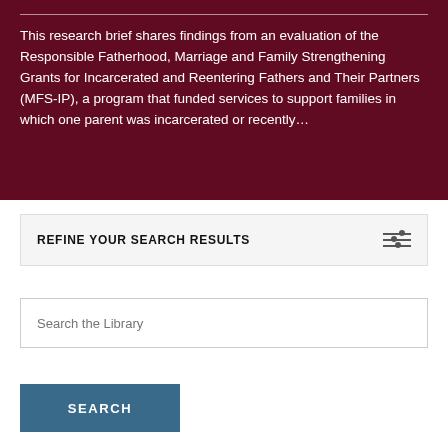This research brief shares findings from an evaluation of the Responsible Fatherhood, Marriage and Family Strengthening Grants for Incarcerated and Reentering Fathers and Their Partners (MFS-IP), a program that funded services to support families in which one parent was incarcerated or recently…
REFINE YOUR SEARCH RESULTS
Search the Library
SEARCH